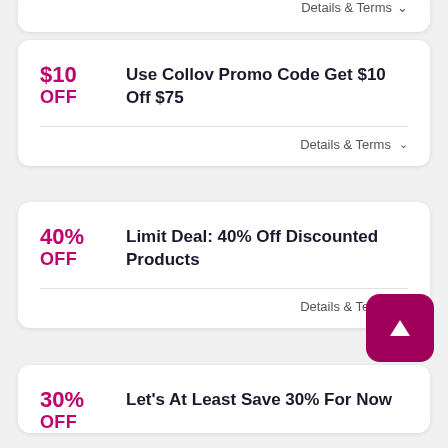Details & Terms ∨
$10 OFF
Use Collov Promo Code Get $10 Off $75
Details & Terms ∨
40% OFF
Limit Deal: 40% Off Discounted Products
Details & Terms ∨
30% OFF
Let's At Least Save 30% For Now